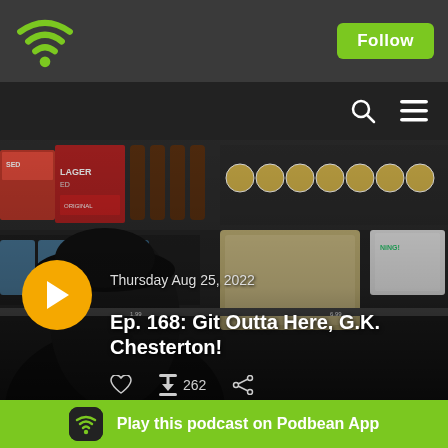[Figure (logo): Podbean WiFi/radio wave logo in green on dark grey top bar, with Follow green button on the right]
[Figure (screenshot): Navigation bar with dark background, search icon and hamburger menu icon on the right]
[Figure (photo): Photo of a person in a black cap looking at a convenience store refrigerator/cooler section with beer and beverages. Dark overlay. Includes: play button (orange circle with white triangle), date 'Thursday Aug 25, 2022', episode title 'Ep. 168: Git Outta Here, G.K. Chesterton!', heart icon, download icon with '262', share icon]
Thursday Aug 25, 2022
Ep. 168: Git Outta Here, G.K. Chesterton!
262
Play this podcast on Podbean App